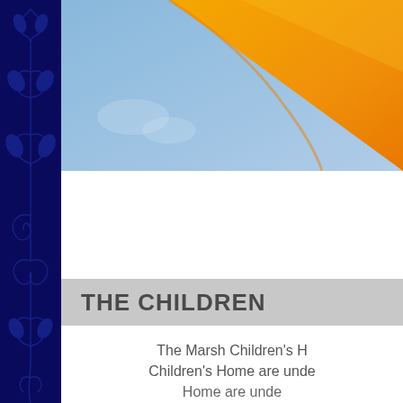[Figure (photo): Abstract close-up photo showing blue sky and a large orange/yellow curved surface, split diagonally]
THE CHILDREN
The Marsh Children's Home are unde
Children's Home are unde